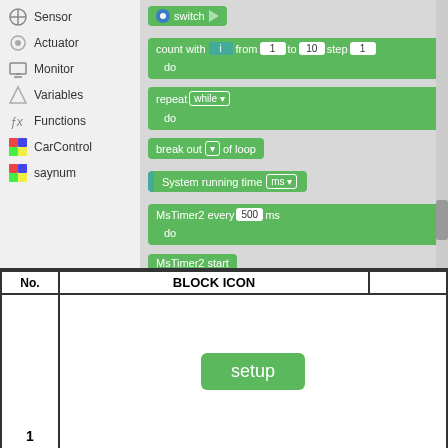[Figure (screenshot): Block-based programming interface (Scratch-like) showing a sidebar with categories: Sensor, Actuator, Monitor, Variables, Functions, CarControl, saynum. The blocks area shows: switch block, count with i from 1 to 10 step 1 / do block, repeat while / do block, break out of loop block, System running time ms block, MsTimer2 every 500 ms / do block, MsTimer2 start block.]
| No. | BLOCK ICON | ... |
| --- | --- | --- |
| 1 | setup | ... |